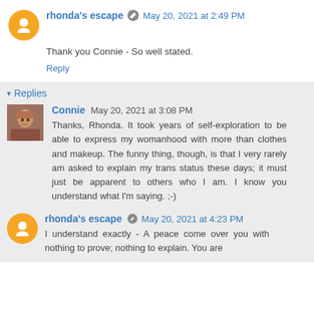rhonda's escape  May 20, 2021 at 2:49 PM
Thank you Connie - So well stated.
Reply
▾ Replies
Connie  May 20, 2021 at 3:08 PM
Thanks, Rhonda. It took years of self-exploration to be able to express my womanhood with more than clothes and makeup. The funny thing, though, is that I very rarely am asked to explain my trans status these days; it must just be apparent to others who I am. I know you understand what I'm saying. ;-)
rhonda's escape  May 20, 2021 at 4:23 PM
I understand exactly - A peace come over you with nothing to prove; nothing to explain. You are